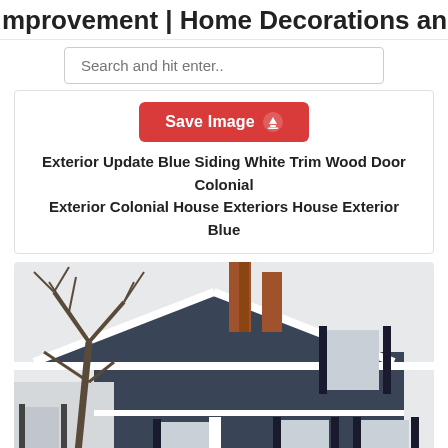mprovement | Home Decorations and
Search and hit enter..
Save Image
Exterior Update Blue Siding White Trim Wood Door Colonial Exterior Colonial House Exteriors House Exterior Blue
[Figure (photo): Colonial house with dark blue/grey siding, black shutters, white trim, brick chimneys, and bare winter trees in the foreground.]